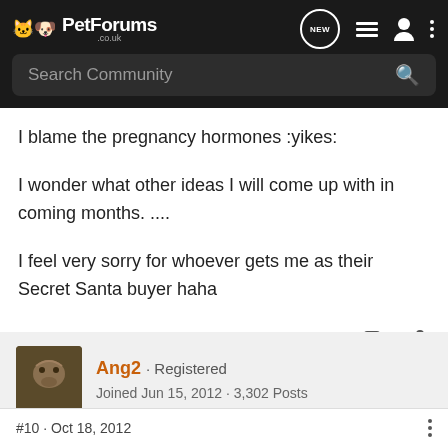PetForums .co.uk — Search Community
I blame the pregnancy hormones :yikes:

I wonder what other ideas I will come up with in coming months. ....

I feel very sorry for whoever gets me as their Secret Santa buyer haha
Ang2 · Registered
Joined Jun 15, 2012 · 3,302 Posts
#10 · Oct 18, 2012